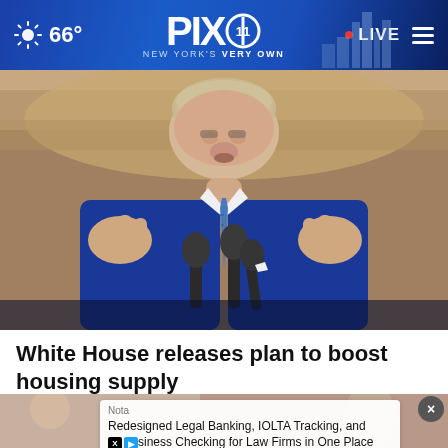PIX11 NEW YORK'S VERY OWN — 66° — LIVE
[Figure (photo): President Joe Biden speaking at microphones, wearing a blue suit and blue striped tie, gesturing with both hands raised, in an ornate room]
White House releases plan to boost housing supply
[Figure (photo): Partial advertisement overlay showing a person and an ad for Redesigned Legal Banking, IOLTA Tracking, and Business Checking for Law Firms in One Place]
Nota
Redesigned Legal Banking, IOLTA Tracking, and Business Checking for Law Firms in One Place